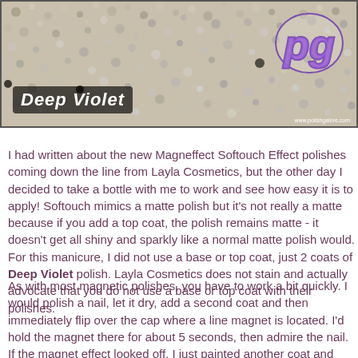[Figure (photo): Banner image showing a textured glittery surface with 'Deep Violet' label in the lower left and a 'pg' logo in the upper right, with website text www.polishgalore.com]
I had written about the new Magneffect Softouch Effect polishes coming down the line from Layla Cosmetics, but the other day I decided to take a bottle with me to work and see how easy it is to apply!  Softouch mimics a matte polish but it's not really a matte because if you add a top coat, the polish remains matte - it doesn't get all shiny and sparkly like a normal matte polish would.  For this manicure, I did not use a base or top coat, just 2 coats of Deep Violet polish.  Layla Cosmetics does not stain and actually advocate that you do not use a base or top coat with their polishes.
As with most magnetic polishes, you have to work a bit quickly.  I would polish a nail, let it dry, add a second coat and then immediately flip over the cap where a line magnet is located.  I'd hold the magnet there for about 5 seconds, then admire the nail.  If the magnet effect looked off, I just painted another coat and tried again.  Thankfully I got it down on most fingers, the first time but had issues